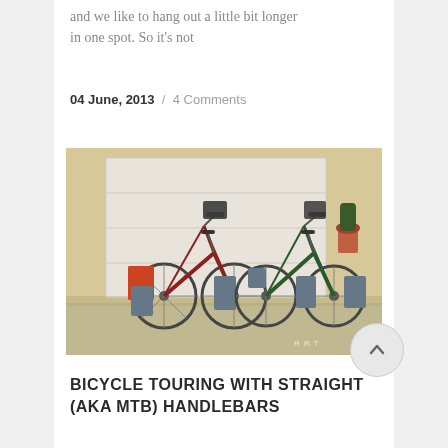and we like to hang out a little bit longer in one spot. So it's not
04 June, 2013 / 4 Comments
[Figure (photo): Two loaded touring bicycles parked side by side in front of a white garage door, each fitted with multiple panniers and handlebar bags. The left bike is dark red/maroon and the right bike is green. Both are heavily loaded with grey and orange gear.]
BICYCLE TOURING WITH STRAIGHT (AKA MTB) HANDLEBARS